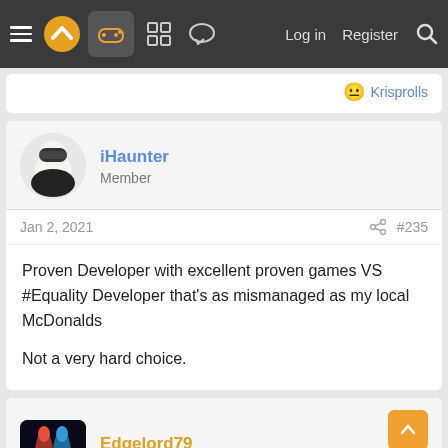Navigation bar with hamburger menu, logo, gamepad icon, grid icon, chat icon, Log in, Register, Search
Krisprolls
iHaunter
Member
Jan 2, 2021   #235
Proven Developer with excellent proven games VS #Equality Developer that's as mismanaged as my local McDonalds

Not a very hard choice.
Edgelord79
Gold Member
Jan 2, 2021   #236